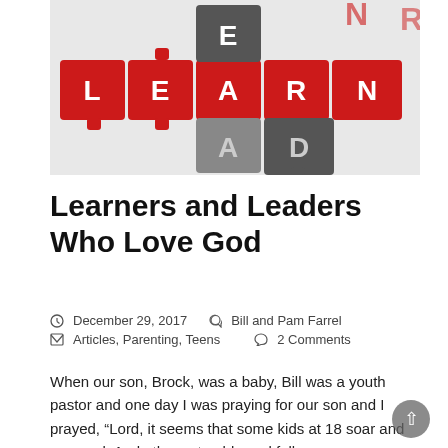[Figure (photo): Red and gray interlocking puzzle pieces forming the words LEAD and LEARN on a light background.]
Learners and Leaders Who Love God
December 29, 2017   Bill and Pam Farrel
Articles, Parenting, Teens   2 Comments
When our son, Brock, was a baby, Bill was a youth pastor and one day I was praying for our son and I prayed, "Lord, it seems that some kids at 18 soar and succeed. And others stumble and fall....